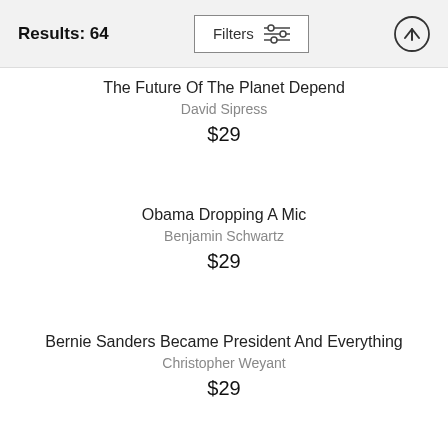Results: 64
The Future Of The Planet Depend
David Sipress
$29
Obama Dropping A Mic
Benjamin Schwartz
$29
Bernie Sanders Became President And Everything
Christopher Weyant
$29